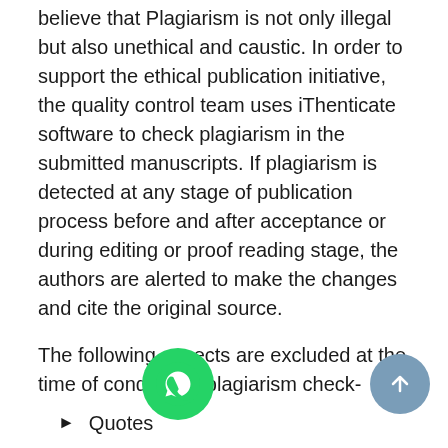believe that Plagiarism is not only illegal but also unethical and caustic. In order to support the ethical publication initiative, the quality control team uses iThenticate software to check plagiarism in the submitted manuscripts. If plagiarism is detected at any stage of publication process before and after acceptance or during editing or proof reading stage, the authors are alerted to make the changes and cite the original source.
The following aspects are excluded at the time of conducting plagiarism check-
Quotes
Bibliography
Phrases
matical Formula
Name of Institutions, Departments etc.